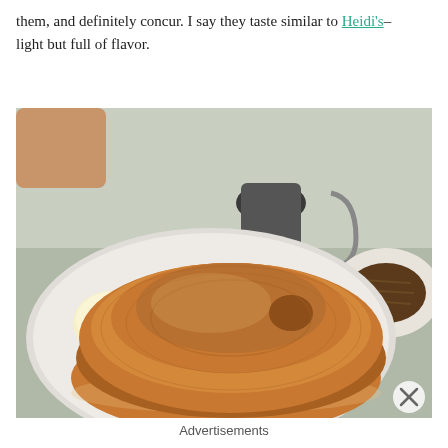them, and definitely concur. I say they taste similar to Heidi's–light but full of flavor.
[Figure (photo): A stack of two large golden-brown pancakes on a white plate, served with a scoop of butter on the side. A metal syrup pitcher is visible in the background, along with a second plate with what appears to be hash browns or a dark-colored side dish.]
Advertisements